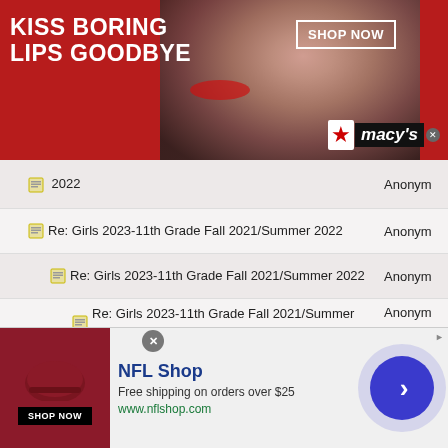[Figure (infographic): Macy's advertisement banner: 'KISS BORING LIPS GOODBYE' with woman's face and red lips, SHOP NOW button, Macy's logo, close button]
Re: Girls 2023-11th Grade Fall 2021/Summer 2022 | Anonym
Re: Girls 2023-11th Grade Fall 2021/Summer 2022 | Anonym
Re: Girls 2023-11th Grade Fall 2021/Summer 2022 | Anonym
Re: Girls 2023-11th Grade Fall 2021/Summer 2022 | Anonym
Re: Girls 2023-11th Grade Fall 2021/Summer 2022 | Anonym
Re: Girls 2023-11th Grade Fall 2021/Summer 2022 | Anonym
Re: Girls 2023-11th Grade Fall 2021/Summer 2022 | Anonym
[Figure (infographic): NFL Shop advertisement: logo, 'Free shipping on orders over $25', www.nflshop.com, SHOP NOW button, arrow navigation button]